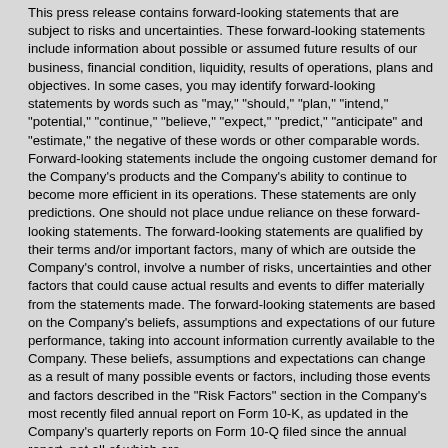This press release contains forward-looking statements that are subject to risks and uncertainties. These forward-looking statements include information about possible or assumed future results of our business, financial condition, liquidity, results of operations, plans and objectives. In some cases, you may identify forward-looking statements by words such as "may," "should," "plan," "intend," "potential," "continue," "believe," "expect," "predict," "anticipate" and "estimate," the negative of these words or other comparable words. Forward-looking statements include the ongoing customer demand for the Company's products and the Company's ability to continue to become more efficient in its operations. These statements are only predictions. One should not place undue reliance on these forward-looking statements. The forward-looking statements are qualified by their terms and/or important factors, many of which are outside the Company's control, involve a number of risks, uncertainties and other factors that could cause actual results and events to differ materially from the statements made. The forward-looking statements are based on the Company's beliefs, assumptions and expectations of our future performance, taking into account information currently available to the Company. These beliefs, assumptions and expectations can change as a result of many possible events or factors, including those events and factors described in the "Risk Factors" section in the Company's most recently filed annual report on Form 10-K, as updated in the Company's quarterly reports on Form 10-Q filed since the annual report, not all of which are